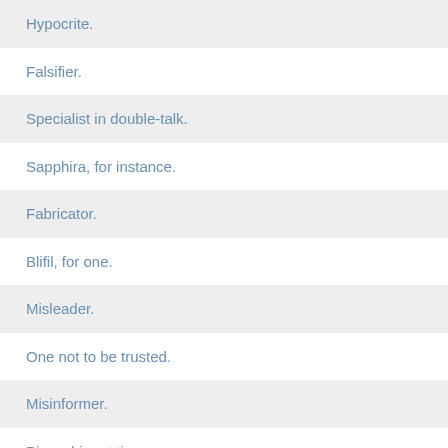Hypocrite.
Falsifier.
Specialist in double-talk.
Sapphira, for instance.
Fabricator.
Blifil, for one.
Misleader.
One not to be trusted.
Misinformer.
Pinocchio, at times.